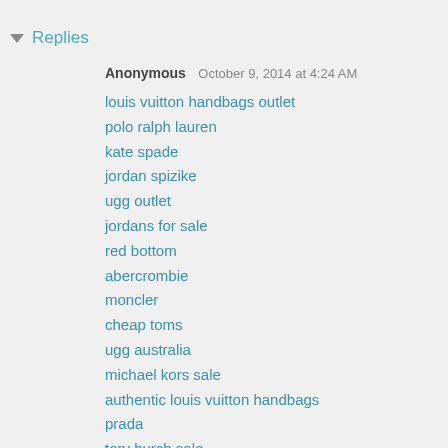▼ Replies
Anonymous  October 9, 2014 at 4:24 AM
louis vuitton handbags outlet
polo ralph lauren
kate spade
jordan spizike
ugg outlet
jordans for sale
red bottom
abercrombie
moncler
cheap toms
ugg australia
michael kors sale
authentic louis vuitton handbags
prada
tory burch sale
louis vuitton handbags sale
oakley
abercrombie clothing